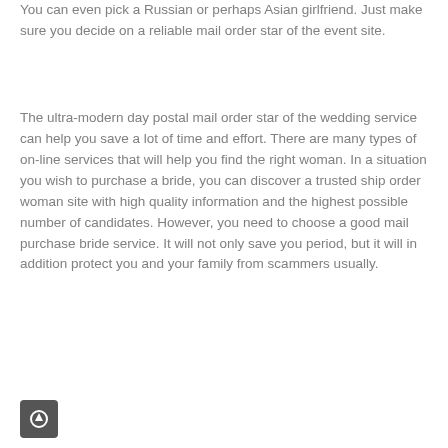You can even pick a Russian or perhaps Asian girlfriend. Just make sure you decide on a reliable mail order star of the event site.
The ultra-modern day postal mail order star of the wedding service can help you save a lot of time and effort. There are many types of on-line services that will help you find the right woman. In a situation you wish to purchase a bride, you can discover a trusted ship order woman site with high quality information and the highest possible number of candidates. However, you need to choose a good mail purchase bride service. It will not only save you period, but it will in addition protect you and your family from scammers usually.
[Figure (other): Small dark square icon button with an upward arrow symbol]